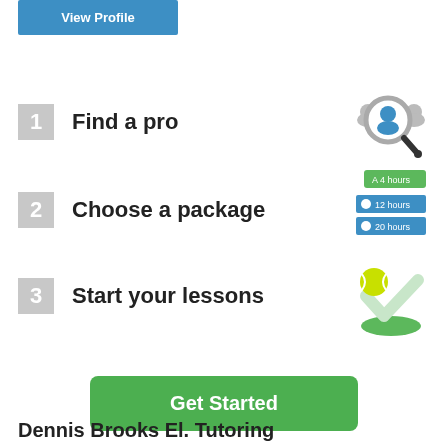[Figure (screenshot): Blue 'View Profile' button at top left]
1  Find a pro
[Figure (illustration): Magnifying glass with person icon and silhouettes – Find a pro icon]
2  Choose a package
[Figure (illustration): Package selection icon showing 4 hours, 12 hours, 20 hours options]
3  Start your lessons
[Figure (illustration): Tennis ball with checkmark/swoosh icon]
Get Started
Dennis Brooks El. Tutoring